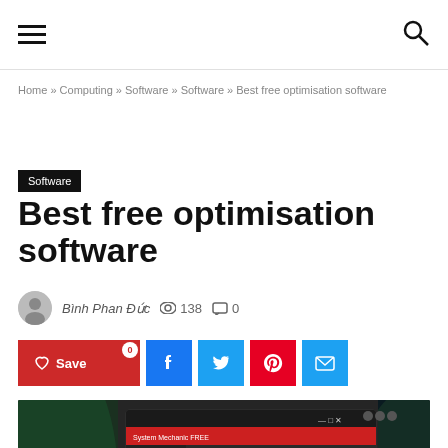Navigation header with hamburger menu and search icon
Home » Computing » Software » Software » Best free optimisation software
Software
Best free optimisation software
Binh Phan Đức  👁 138  💬 0
Save 0 | Facebook | Twitter | Pinterest | Email share buttons
[Figure (screenshot): Screenshot of System Mechanic FREE software showing Quick System Analysis with a gear icon and heartbeat monitor graphic]